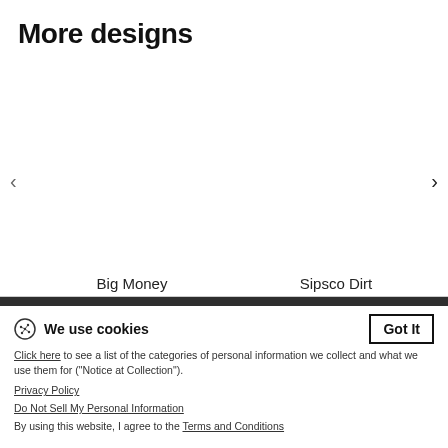More designs
[Figure (screenshot): Carousel showing product designs: 'Big Money' on the left, 'Sipsco Dirt' on the right, with left and right navigation arrows and six pagination dots below.]
Big Money
Sipsco Dirt
Privacy  Legal Info  Tracking  United States  Contact Information  Terms & Conditions  Shipping costs and shipping times
We use cookies
Click here to see a list of the categories of personal information we collect and what we use them for ("Notice at Collection").
Privacy Policy
Do Not Sell My Personal Information
By using this website, I agree to the Terms and Conditions